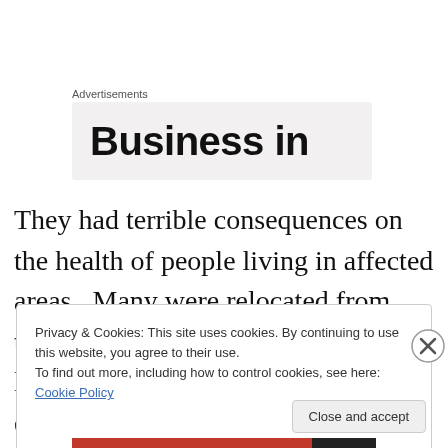Advertisements
[Figure (other): Advertisement banner showing 'Business in' text on a light grey background]
They had terrible consequences on the health of people living in affected areas.  Many were relocated from their ancestral lands, disrupting their lives and livelihoods. Pristine environments and ecosystems were destroyed, which will take decades, if not centuries, to heal."
Privacy & Cookies: This site uses cookies. By continuing to use this website, you agree to their use.
To find out more, including how to control cookies, see here: Cookie Policy
Close and accept